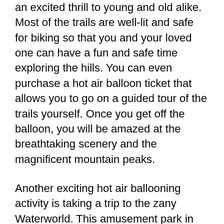an excited thrill to young and old alike. Most of the trails are well-lit and safe for biking so that you and your loved one can have a fun and safe time exploring the hills. You can even purchase a hot air balloon ticket that allows you to go on a guided tour of the trails yourself. Once you get off the balloon, you will be amazed at the breathtaking scenery and the magnificent mountain peaks.
Another exciting hot air ballooning activity is taking a trip to the zany Waterworld. This amusement park in Asheville NC is located right near the downtown area. Here, you will find a number of water slides, waterfalls, giant swings, wave pools and other water features. Your hot air balloon ride will give